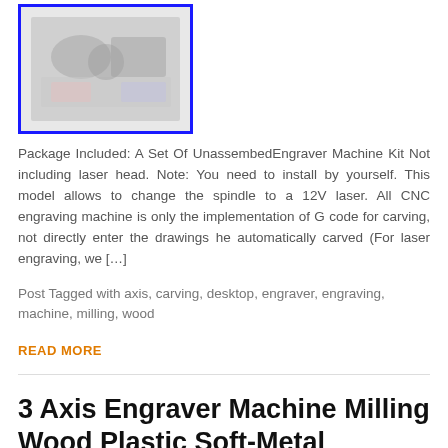[Figure (photo): Product image of an unassembled engraver machine kit with blue border frame]
Package Included: A Set Of UnassembedEngraver Machine Kit Not including laser head. Note: You need to install by yourself. This model allows to change the spindle to a 12V laser. All CNC engraving machine is only the implementation of G code for carving, not directly enter the drawings he automatically carved (For laser engraving, we […]
Post Tagged with axis, carving, desktop, engraver, engraving, machine, milling, wood
READ MORE
3 Axis Engraver Machine Milling Wood Plastic Soft-Metal Carving Engraving Kit